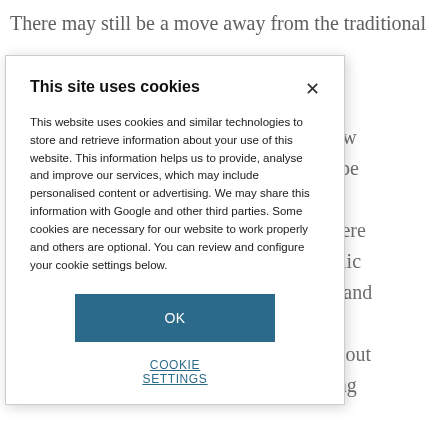There may still be a move away from the traditional
nal chemists
l not be at all
rches into new
t force us to be
e question is
ink that’s where
s a cataclysmic
all molecule and
hat you can
into this without
RNA targeting
This site uses cookies
This website uses cookies and similar technologies to store and retrieve information about your use of this website. This information helps us to provide, analyse and improve our services, which may include personalised content or advertising. We may share this information with Google and other third parties. Some cookies are necessary for our website to work properly and others are optional. You can review and configure your cookie settings below.
OK
COOKIE SETTINGS